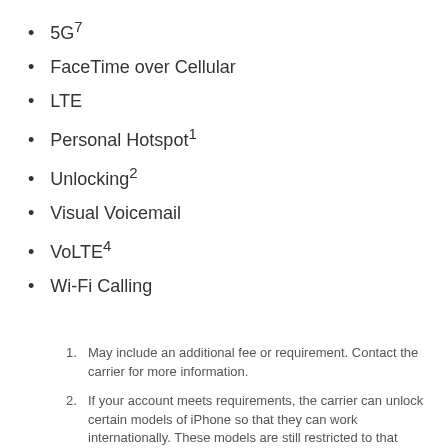5G⁷
FaceTime over Cellular
LTE
Personal Hotspot¹
Unlocking²
Visual Voicemail
VoLTE⁴
Wi-Fi Calling
1. May include an additional fee or requirement. Contact the carrier for more information.
2. If your account meets requirements, the carrier can unlock certain models of iPhone so that they can work internationally. These models are still restricted to that carrier in the United